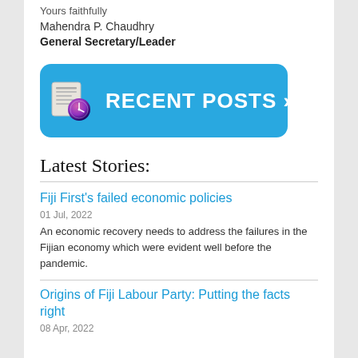Yours faithfully
Mahendra P. Chaudhry
General Secretary/Leader
[Figure (illustration): Blue rounded rectangle button with a newspaper and clock icon on the left and the text 'RECENT POSTS >>' in white bold letters]
Latest Stories:
Fiji First's failed economic policies
01 Jul, 2022
An economic recovery needs to address the failures in the Fijian economy which were evident well before the pandemic.
Origins of Fiji Labour Party: Putting the facts right
08 Apr, 2022